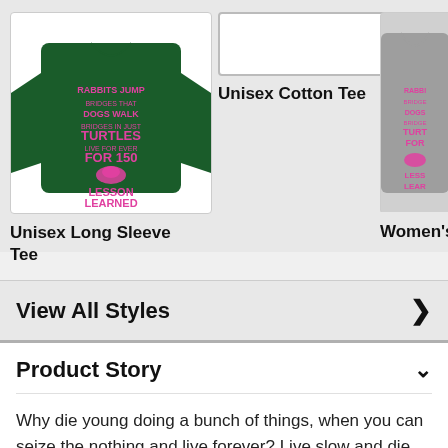[Figure (photo): Dark green long sleeve t-shirt with pink graphic text: RABBITS JUMP DOGS WALK TURTLES FOR 150 LESSON LEARNED]
[Figure (photo): White/light input box placeholder for Unisex Cotton Tee product image]
[Figure (photo): Partially visible grey women's t-shirt with pink graphic text]
Unisex Long Sleeve Tee
Unisex Cotton Tee
Women's Co
View All Styles
Product Story
Why die young doing a bunch of things, when you can seize the nothing and live forever? Live slow and die whenever like a really chill tortoise. Not even sloths compare to this level of lazy.
Product Features